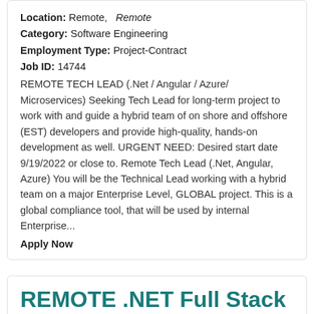Location: Remote, Remote
Category: Software Engineering
Employment Type: Project-Contract
Job ID: 14744
REMOTE TECH LEAD (.Net / Angular / Azure/ Microservices) Seeking Tech Lead for long-term project to work with and guide a hybrid team of on shore and offshore (EST) developers and provide high-quality, hands-on development as well. URGENT NEED: Desired start date 9/19/2022 or close to. Remote Tech Lead (.Net, Angular, Azure) You will be the Technical Lead working with a hybrid team on a major Enterprise Level, GLOBAL project. This is a global compliance tool, that will be used by internal Enterprise...
Apply Now
REMOTE .NET Full Stack Dev...